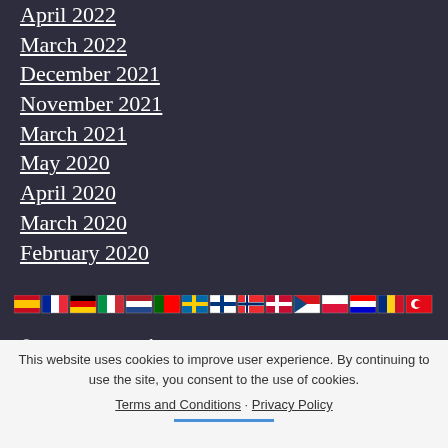April 2022
March 2022
December 2021
November 2021
March 2021
May 2020
April 2020
March 2020
February 2020
[Figure (illustration): Row of country flag icons]
© 2022 Cross Stitch Kits
This website uses cookies to improve user experience. By continuing to use the site, you consent to the use of cookies. Terms and Conditions · Privacy Policy